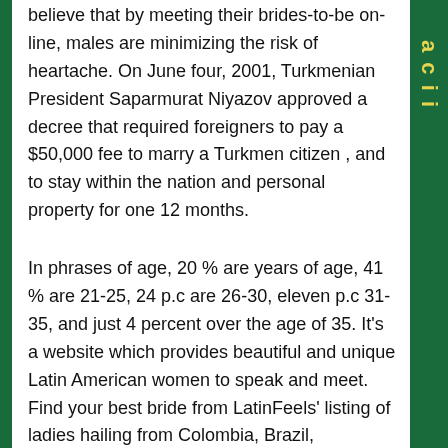believe that by meeting their brides-to-be on-line, males are minimizing the risk of heartache. On June four, 2001, Turkmenian President Saparmurat Niyazov approved a decree that required foreigners to pay a $50,000 fee to marry a Turkmen citizen , and to stay within the nation and personal property for one 12 months.
In phrases of age, 20 % are years of age, 41 % are 21-25, 24 p.c are 26-30, eleven p.c 31-35, and just 4 percent over the age of 35. It's a website which provides beautiful and unique Latin American women to speak and meet. Find your best bride from LatinFeels' listing of ladies hailing from Colombia, Brazil, Argentina, and